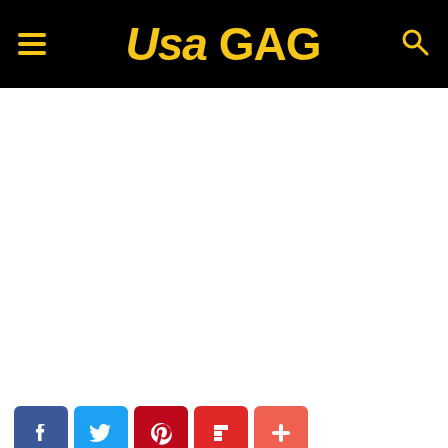USA GAG
[Figure (other): Blank white content area (article body placeholder)]
[Figure (infographic): Social share buttons row: Facebook (blue), Twitter (light blue), Pinterest (red), Flipboard (red), More/Plus (coral red)]